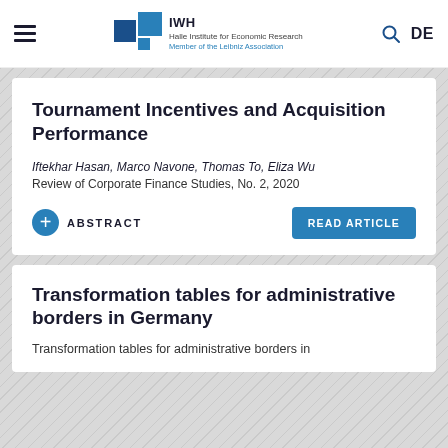IWH — Halle Institute for Economic Research | Member of the Leibniz Association | DE
Tournament Incentives and Acquisition Performance
Iftekhar Hasan, Marco Navone, Thomas To, Eliza Wu
Review of Corporate Finance Studies, No. 2, 2020
+ ABSTRACT
READ ARTICLE
Transformation tables for administrative borders in Germany
Transformation tables for administrative borders in